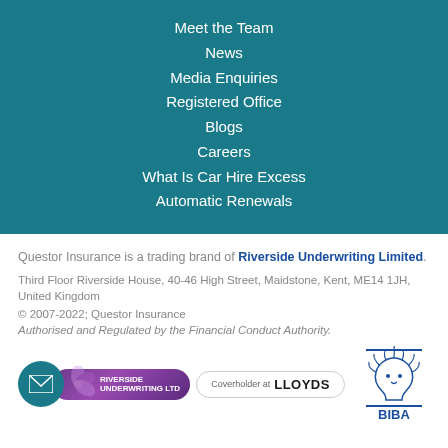Meet the Team
News
Media Enquiries
Registered Office
Blogs
Careers
What Is Car Hire Excess
Automatic Renewals
Questor Insurance is a trading brand of Riverside Underwriting Limited.
Third Floor Riverside House, 40-46 High Street, Maidstone, Kent, ME14 1JH, United Kingdom
© 2007-2022; Questor Insurance
Authorised and Regulated by the Financial Conduct Authority.
[Figure (logo): Email icon, Riverside Underwriting Ltd badge, Coverholder at Lloyd's badge, and BIBA lion logo]